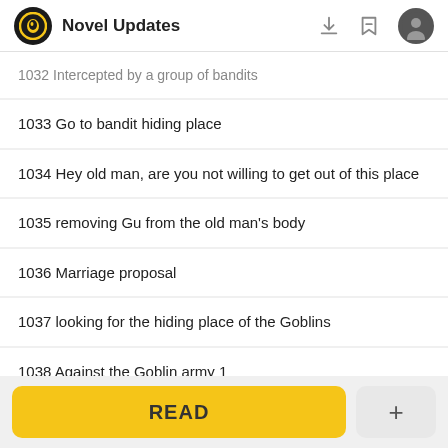Novel Updates
1032 Intercepted by a group of bandits
1033 Go to bandit hiding place
1034 Hey old man, are you not willing to get out of this place
1035 removing Gu from the old man's body
1036 Marriage proposal
1037 looking for the hiding place of the Goblins
1038 Against the Goblin army 1
1039 Against the Goblin army 2
READ
+